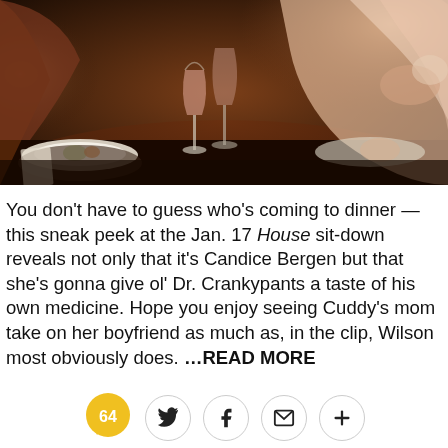[Figure (photo): People dining at a restaurant table with wine glasses and plates of food]
You don't have to guess who's coming to dinner — this sneak peek at the Jan. 17 House sit-down reveals not only that it's Candice Bergen but that she's gonna give ol' Dr. Crankypants a taste of his own medicine. Hope you enjoy seeing Cuddy's mom take on her boyfriend as much as, in the clip, Wilson most obviously does. ...READ MORE
[Figure (infographic): Social sharing bar with comment count 64 and icons for Twitter, Facebook, email, and plus]